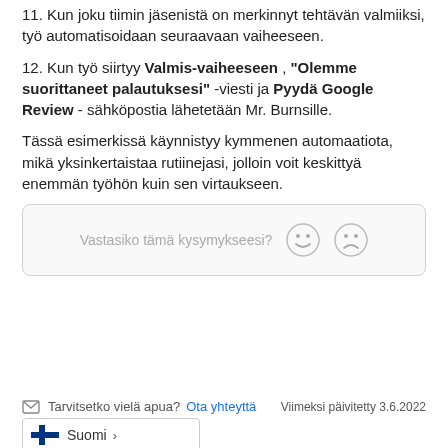11. Kun joku tiimin jäsenistä on merkinnyt tehtävän valmiiksi, työ automatisoidaan seuraavaan vaiheeseen.
12. Kun työ siirtyy Valmis-vaiheeseen , "Olemme suorittaneet palautuksesi" -viesti ja Pyydä Google Review - sähköpostia lähetetään Mr. Burnsille.
Tässä esimerkissä käynnistyy kymmenen automaatiota, mikä yksinkertaistaa rutiinejasi, jolloin voit keskittyä enemmän työhön kuin sen virtaukseen.
[Figure (other): Feedback widget with smiley face emoticons asking 'Vastasiko tämä kysymykseesi?' (Did this answer your question?) with a happy and sad face emoji.]
Tarvitsetko vielä apua? Ota yhteyttä   Viimeksi päivitetty 3.6.2022
Suomi >